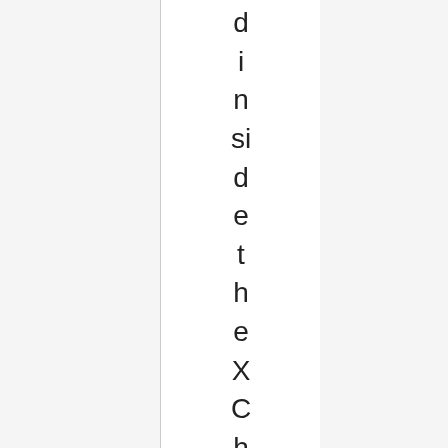dins idet he XChat Azure tex t